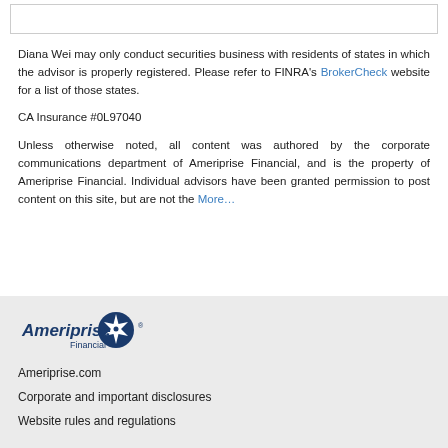Diana Wei may only conduct securities business with residents of states in which the advisor is properly registered. Please refer to FINRA's BrokerCheck website for a list of those states.
CA Insurance #0L97040
Unless otherwise noted, all content was authored by the corporate communications department of Ameriprise Financial, and is the property of Ameriprise Financial. Individual advisors have been granted permission to post content on this site, but are not the More…
[Figure (logo): Ameriprise Financial logo with circular star/compass icon]
Ameriprise.com
Corporate and important disclosures
Website rules and regulations